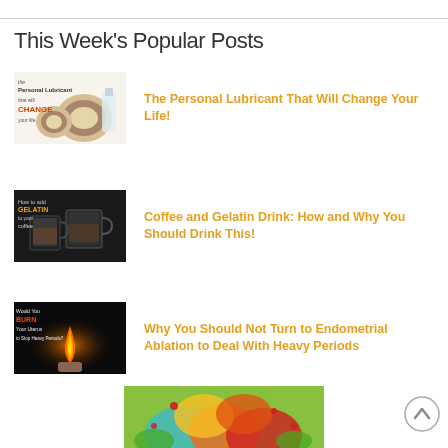This Week's Popular Posts
[Figure (photo): Thumbnail image showing coconut and glass bottle with text 'the Personal Lubricant that will CHANGE your life']
The Personal Lubricant That Will Change Your Life!
[Figure (photo): Thumbnail image showing coffee mugs with text 'How to add GELATIN to your coffee']
Coffee and Gelatin Drink: How and Why You Should Drink This!
[Figure (photo): Thumbnail image of flame/candle with text 'Would You BURN Your Uterus to Stop Heavy Periods?']
Why You Should Not Turn to Endometrial Ablation to Deal With Heavy Periods
[Figure (photo): Colorful product box with floral/leaf design in green, orange, red and teal colors]